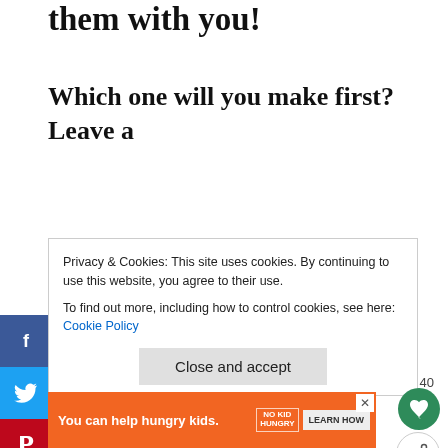them with you!
Which one will you make first? Leave a
Privacy & Cookies: This site uses cookies. By continuing to use this website, you agree to their use.
To find out more, including how to control cookies, see here: Cookie Policy
Close and accept
Well, there isn't a national day for Egg Muff but there IS a National Egg Day on June 3rd and a World Egg Day on the 2nd F October. I have a huge post to celebrate it
[Figure (infographic): WHAT'S NEXT arrow label with thumbnail image showing egg casserole dish, text: 25+ Egg Casserole...]
[Figure (infographic): Advertisement banner: orange background with text 'You can help hungry kids.' with No Kid Hungry logo and LEARN HOW button, with close X button]